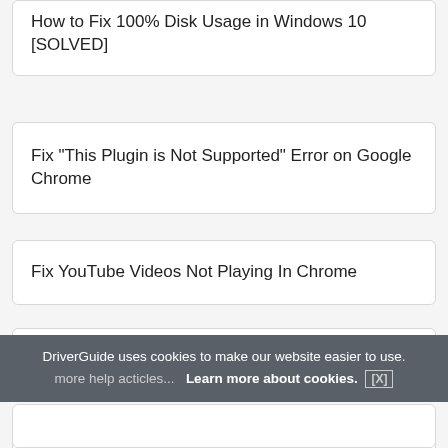How to Fix 100% Disk Usage in Windows 10 [SOLVED]
Fix "This Plugin is Not Supported" Error on Google Chrome
Fix YouTube Videos Not Playing In Chrome
How to Setup & Fix Miracast on Windows 10
Fix "Your connection is not private" Error in Chrome
DriverGuide uses cookies to make our website easier to use. Learn more about cookies. [X]
more help acticles...